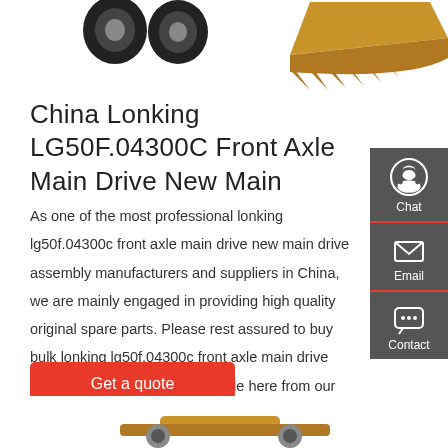[Figure (photo): Top portion of page showing construction equipment parts: two black tires/wheels on the left and a yellow excavator bucket on the right, on white background.]
China Lonking LG50F.04300C Front Axle Main Drive New Main
As one of the most professional lonking lg50f.04300c front axle main drive new main drive assembly manufacturers and suppliers in China, we are mainly engaged in providing high quality original spare parts. Please rest assured to buy bulk lonking lg50f.04300c front axle main drive new main drive assembly for sale here from our factory. Contact us for the genuine cooperation.
[Figure (infographic): Dark gray sidebar on the right with three icons and labels: Chat (headset icon), Email (envelope icon), Contact (speech bubble with dots icon), separated by red lines.]
Get a quote
[Figure (photo): Bottom partial image showing yellow construction machinery/equipment part on white background.]